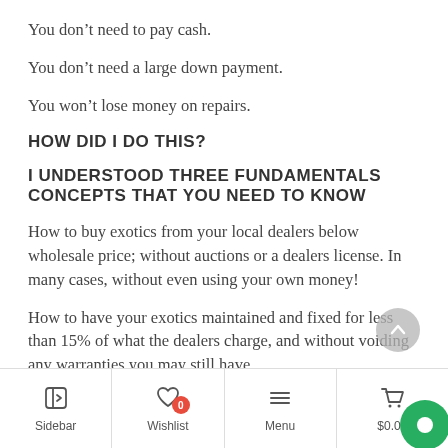You don’t need to pay cash.
You don’t need a large down payment.
You won’t lose money on repairs.
HOW DID I DO THIS?
I UNDERSTOOD THREE FUNDAMENTALS CONCEPTS THAT YOU NEED TO KNOW
How to buy exotics from your local dealers below wholesale price; without auctions or a dealers license. In many cases, without even using your own money!
How to have your exotics maintained and fixed for less than 15% of what the dealers charge, and without voiding any warranties you may still have.
Sidebar   Wishlist 0   Menu   $0.00